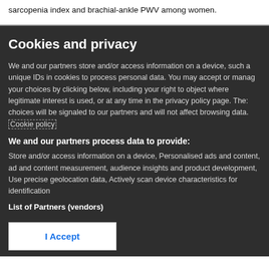sarcopenia index and brachial-ankle PWV among women.
Cookies and privacy
We and our partners store and/or access information on a device, such as unique IDs in cookies to process personal data. You may accept or manage your choices by clicking below, including your right to object where legitimate interest is used, or at any time in the privacy policy page. These choices will be signaled to our partners and will not affect browsing data. Cookie policy
We and our partners process data to provide:
Store and/or access information on a device, Personalised ads and content, ad and content measurement, audience insights and product development, Use precise geolocation data, Actively scan device characteristics for identification
List of Partners (vendors)
I Accept